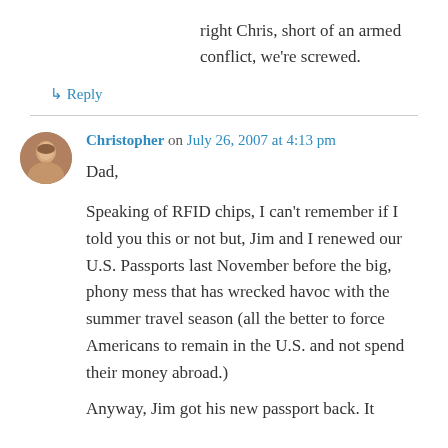right Chris, short of an armed conflict, we're screwed.
↳ Reply
Christopher on July 26, 2007 at 4:13 pm
Dad,

Speaking of RFID chips, I can't remember if I told you this or not but, Jim and I renewed our U.S. Passports last November before the big, phony mess that has wrecked havoc with the summer travel season (all the better to force Americans to remain in the U.S. and not spend their money abroad.)

Anyway, Jim got his new passport back. It